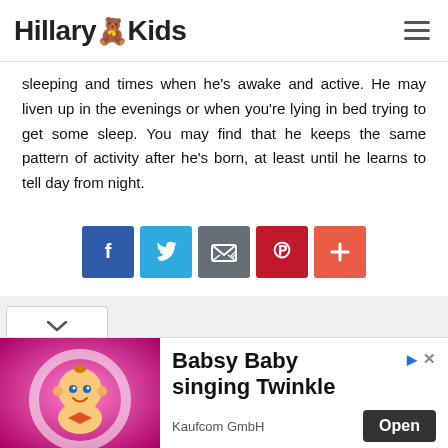Hillary Kids
sleeping and times when he's awake and active. He may liven up in the evenings or when you're lying in bed trying to get some sleep. You may find that he keeps the same pattern of activity after he's born, at least until he learns to tell day from night.
[Figure (infographic): Social sharing buttons: Facebook (blue), Twitter (light blue), Email/share (gray), Pinterest (red), Plus/more (orange-red)]
[Figure (infographic): Dropdown chevron/arrow button selector bar]
[Figure (infographic): Advertisement banner: Babsy Baby singing Twinkle - Kaufcom GmbH, with animated baby image and Open button]